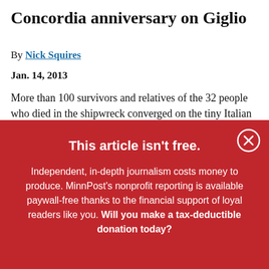Concordia anniversary on Giglio
By Nick Squires
Jan. 14, 2013
More than 100 survivors and relatives of the 32 people who died in the shipwreck converged on the tiny Italian island into which the luxury cruise liner crashed last
This article isn't free.
Independent, in-depth journalism costs money to produce. MinnPost's nonprofit reporting is available paywall-free thanks to the financial support of loyal readers like you. Will you make a tax-deductible donation today?
DONATE NOW